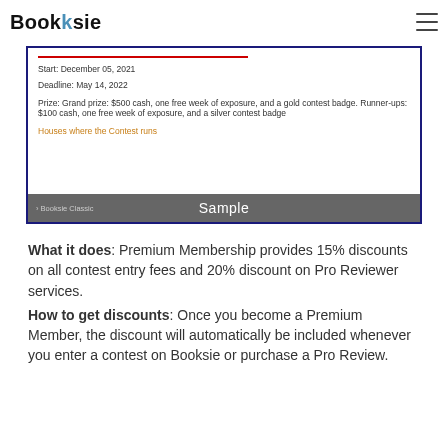Booksie
[Figure (screenshot): Screenshot of a Booksie contest page showing start date December 05, 2021, deadline May 14, 2022, prize details, Houses where the Contest runs link, and a Sample watermark bar with Booksie Classic link]
What it does: Premium Membership provides 15% discounts on all contest entry fees and 20% discount on Pro Reviewer services.
How to get discounts: Once you become a Premium Member, the discount will automatically be included whenever you enter a contest on Booksie or purchase a Pro Review.